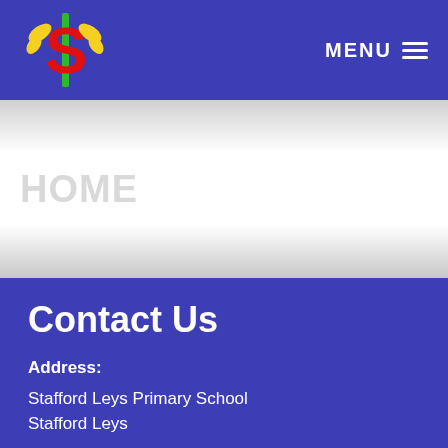[Figure (logo): Stafford Leys Primary School logo: stylized S with green pillar and yellow leaf decorations on a blue background]
MENU
[Figure (photo): Hero/banner section with light grey gradient background and faint watermark text]
Contact Us
Address:
Stafford Leys Primary School
Stafford Leys